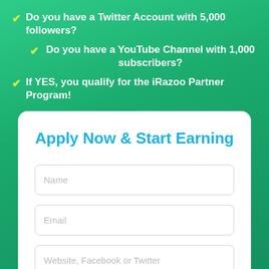✔ Do you have a Twitter Account with 5,000 followers?
✔ Do you have a YouTube Channel with 1,000 subscribers?
✔ If YES, you qualify for the iRazoo Partner Program!
Apply Now & Start Earning
Name
Email
Website, Facebook or Twitter